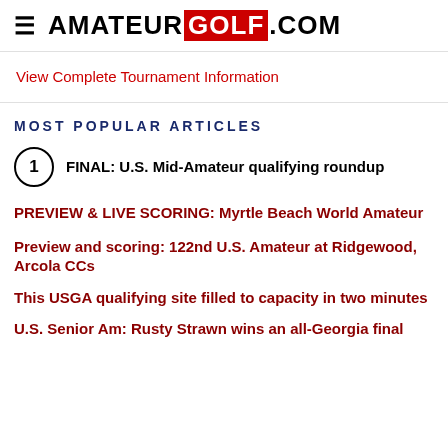≡ AMATEURGOLF.COM
View Complete Tournament Information
MOST POPULAR ARTICLES
1 FINAL: U.S. Mid-Amateur qualifying roundup
PREVIEW & LIVE SCORING: Myrtle Beach World Amateur
Preview and scoring: 122nd U.S. Amateur at Ridgewood, Arcola CCs
This USGA qualifying site filled to capacity in two minutes
U.S. Senior Am: Rusty Strawn wins an all-Georgia final